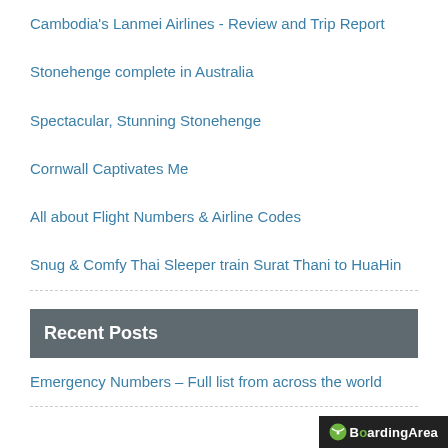Cambodia's Lanmei Airlines - Review and Trip Report
Stonehenge complete in Australia
Spectacular, Stunning Stonehenge
Cornwall Captivates Me
All about Flight Numbers & Airline Codes
Snug & Comfy Thai Sleeper train Surat Thani to HuaHin
Recent Posts
Emergency Numbers – Full list from across the world
[Figure (logo): BoardingArea logo — white text on dark background with speech bubble icon]